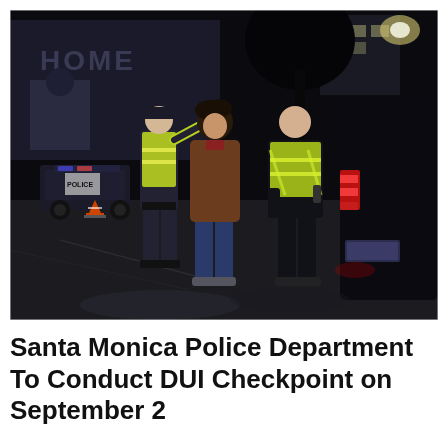[Figure (photo): Nighttime photo of a DUI checkpoint. Two police officers in uniform and high-visibility yellow vests are conducting a sobriety check on a civilian in a brown jacket and jeans. A police car with 'POLICE' markings is visible in the background along with traffic cones and a dark SUV on the right with red taillights.]
Santa Monica Police Department To Conduct DUI Checkpoint on September 2